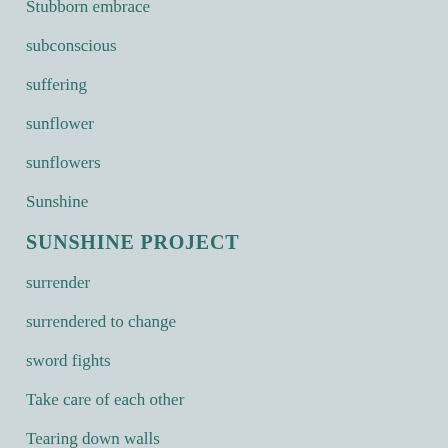Stubborn embrace
subconscious
suffering
sunflower
sunflowers
Sunshine
SUNSHINE PROJECT
surrender
surrendered to change
sword fights
Take care of each other
Tearing down walls
tears